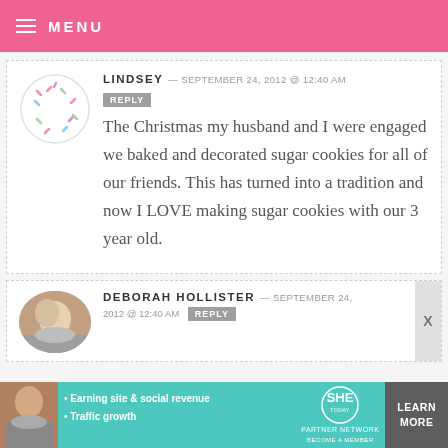MENU
LINDSEY — SEPTEMBER 24, 2012 @ 12:40 AM
REPLY
The Christmas my husband and I were engaged we baked and decorated sugar cookies for all of our friends. This has turned into a tradition and now I LOVE making sugar cookies with our 3 year old.
DEBORAH HOLLISTER — SEPTEMBER 24, 2012 @ 12:40 AM  REPLY
[Figure (infographic): SHE Partner Network advertisement banner with learn more button]